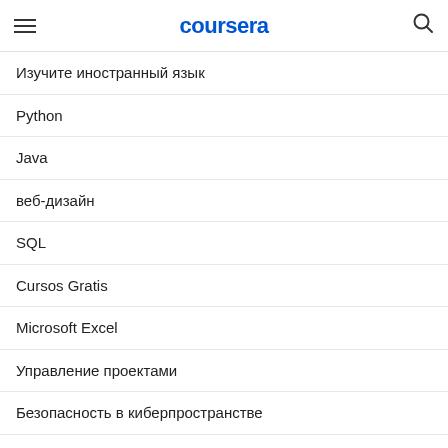coursera
Изучите иностранный язык
Python
Java
веб-дизайн
SQL
Cursos Gratis
Microsoft Excel
Управление проектами
Безопасность в киберпространстве
Людские ресурсы
Бесплатные курсы в области науки о данных
говорить на английском
Написание контента
Веб-разработка: полный спектр технологий
Искусственный интеллект